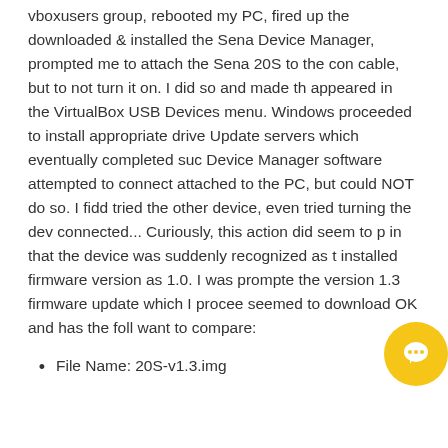vboxusers group, rebooted my PC, fired up the downloaded & installed the Sena Device Manager, prompted me to attach the Sena 20S to the computer cable, but to not turn it on. I did so and made the appeared in the VirtualBox USB Devices menu. Windows proceeded to install appropriate drivers from Update servers which eventually completed successfully. Device Manager software attempted to connect to the device attached to the PC, but could NOT do so. I fiddled around, tried the other device, even tried turning the device on while connected... Curiously, this action did seem to progress in that the device was suddenly recognized as the installed firmware version as 1.0. I was prompted to install the version 1.3 firmware update which I proceeded to do. It seemed to download OK and has the following details I want to compare:
File Name: 20S-v1.3.img